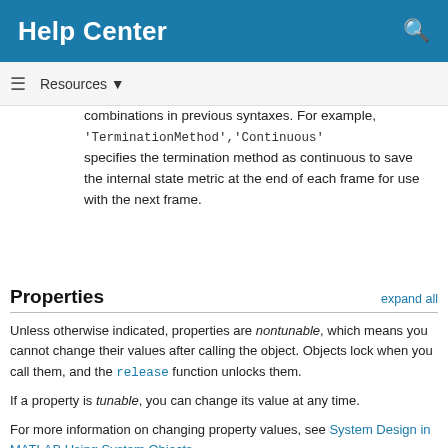Help Center
combinations in previous syntaxes. For example, 'TerminationMethod','Continuous' specifies the termination method as continuous to save the internal state metric at the end of each frame for use with the next frame.
Properties
Unless otherwise indicated, properties are nontunable, which means you cannot change their values after calling the object. Objects lock when you call them, and the release function unlocks them.
If a property is tunable, you can change its value at any time.
For more information on changing property values, see System Design in MATLAB Using System Objects.